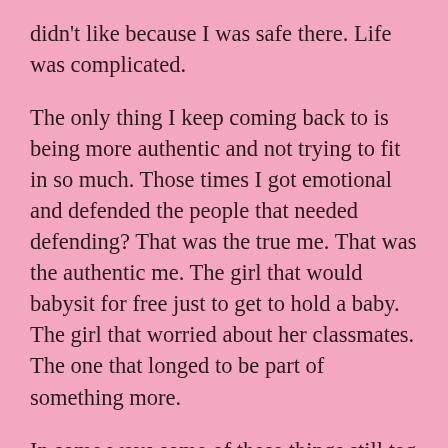didn't like because I was safe there. Life was complicated.
The only thing I keep coming back to is being more authentic and not trying to fit in so much. Those times I got emotional and defended the people that needed defending? That was the true me. That was the authentic me. The girl that would babysit for free just to get to hold a baby. The girl that worried about her classmates. The one that longed to be part of something more.
In some ways some of these things still tag along with me. I still feel like an outsider in a room. I still feel that everyone thinks I am